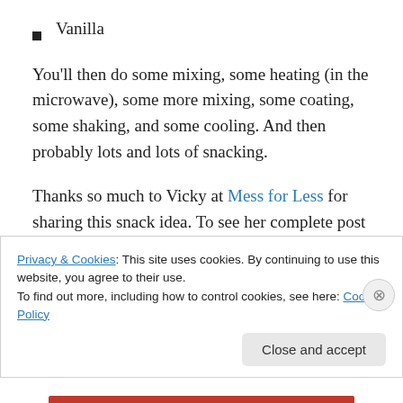Vanilla
You’ll then do some mixing, some heating (in the microwave), some more mixing, some coating, some shaking, and some cooling. And then probably lots and lots of snacking.
Thanks so much to Vicky at Mess for Less for sharing this snack idea. To see her complete post with step-by-step instructions and adorable photos, click here.
If your child has a nut allergy but is still all about the
Privacy & Cookies: This site uses cookies. By continuing to use this website, you agree to their use.
To find out more, including how to control cookies, see here: Cookie Policy
Close and accept